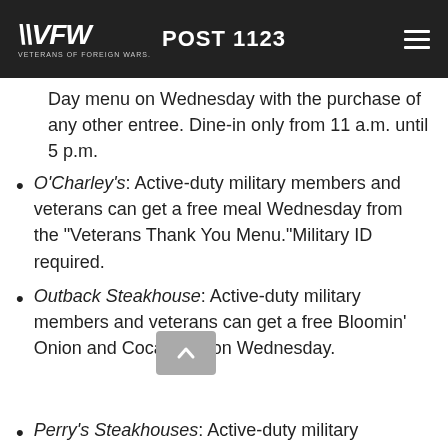VFW POST 1123
Day menu on Wednesday with the purchase of any other entree. Dine-in only from 11 a.m. until 5 p.m.
O'Charley's: Active-duty military members and veterans can get a free meal Wednesday from the "Veterans Thank You Menu."Military ID required.
Outback Steakhouse: Active-duty military members and veterans can get a free Bloomin' Onion and Coca-Cola on Wednesday.
Perry's Steakhouses: Active-duty military members and veterans can get a free